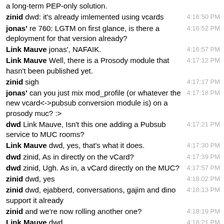a long-term PEP-only solution.
zinid dwd: it's already imlemented using vcards 4:16:50 PM
jonas' re 760: LGTM on first glance, is there a deployment for that version already? 4:16:52 PM
Link Mauve jonas', NAFAIK. 4:16:57 PM
Link Mauve Well, there is a Prosody module that hasn't been published yet. 4:17:12 PM
zinid sigh 4:17:17 PM
jonas' can you just mix mod_profile (or whatever the new vcard<->pubsub conversion module is) on a prosody muc? :> 4:17:18 PM
dwd Link Mauve, Isn't this one adding a Pubsub service to MUC rooms? 4:17:21 PM
Link Mauve dwd, yes, that's what it does. 4:17:30 PM
dwd zinid, As in directly on the vCard? 4:17:39 PM
dwd zinid, Ugh. As in, a vCard directly on the MUC? 4:17:57 PM
zinid dwd, yes 4:18:02 PM
zinid dwd, ejabberd, conversations, gajim and dino support it already 4:18:13 PM
zinid and we're now rolling another one? 4:18:19 PM
Link Mauve dwd, https://docs.ejabberd.im/tutorials/muc-vcard/ describes how it works. 4:18:21 PM
zinid also, full blown pep node on muc?